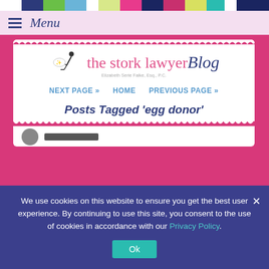[Figure (infographic): Colorful striped bar at top of page with alternating colors: white, dark blue, green, light blue, white, yellow-green, pink/magenta, dark navy, magenta, yellow-green, teal, white, dark navy]
Menu
[Figure (logo): The Stork Lawyer Blog logo with stork illustration, pink cursive text 'the stork lawyer', navy cursive 'Blog', and subtitle 'Elizabeth Serie Falke, Esq., P.C.']
NEXT PAGE »   HOME   PREVIOUS PAGE »
Posts Tagged 'egg donor'
We use cookies on this website to ensure you get the best user experience. By continuing to use this site, you consent to the use of cookies in accordance with our Privacy Policy.
Ok